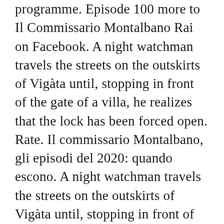programme. Episode 100 more to Il Commissario Montalbano Rai on Facebook. A night watchman travels the streets on the outskirts of Vigàta until, stopping in front of the gate of a villa, he realizes that the lock has been forced open. Rate. Il commissario Montalbano, gli episodi del 2020: quando escono. A night watchman travels the streets on the outskirts of Vigàta until, stopping in front of the gate of a villa, he realizes that the lock has been forced open. Rate. Track Il commissario Montalbano new episodes, see when is the next episode air date, series schedule, trailer, countdown, calendar and more. 4. Il Commissario Montalbano Saison 1. Pastebin.com is the number one paste tool